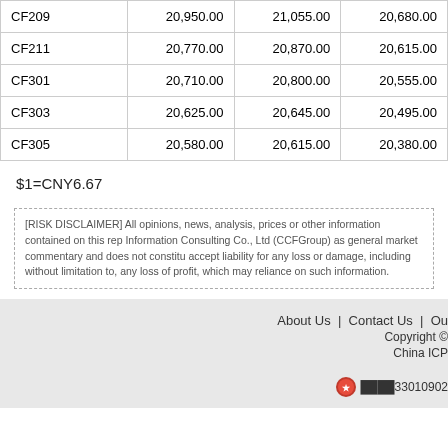| CF209 | 20,950.00 | 21,055.00 | 20,680.00 |
| CF211 | 20,770.00 | 20,870.00 | 20,615.00 |
| CF301 | 20,710.00 | 20,800.00 | 20,555.00 |
| CF303 | 20,625.00 | 20,645.00 | 20,495.00 |
| CF305 | 20,580.00 | 20,615.00 | 20,380.00 |
$1=CNY6.67
[RISK DISCLAIMER] All opinions, news, analysis, prices or other information contained on this rep Information Consulting Co., Ltd (CCFGroup) as general market commentary and does not constitu accept liability for any loss or damage, including without limitation to, any loss of profit, which may reliance on such information.
About Us | Contact Us | Ou Copyright © China ICP ████33010902